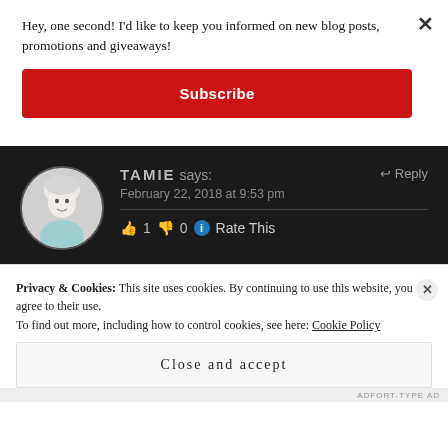Hey, one second! I'd like to keep you informed on new blog posts, promotions and giveaways!
Subscribe
TAMIE says:
February 22, 2018 at 9:53 pm
👍 1 👎 0 ℹ Rate This
Privacy & Cookies: This site uses cookies. By continuing to use this website, you agree to their use.
To find out more, including how to control cookies, see here: Cookie Policy
Close and accept